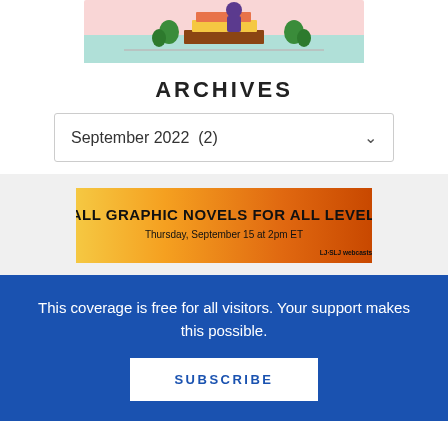[Figure (illustration): Colorful illustration of a person reading books, surrounded by stacked books and plants, on a pink/teal background]
ARCHIVES
September 2022  (2)
[Figure (infographic): Orange gradient banner advertisement reading 'FALL GRAPHIC NOVELS FOR ALL LEVELS — Thursday, September 15 at 2pm ET' with LJ-SLJ webcasts logo]
This coverage is free for all visitors. Your support makes this possible.
SUBSCRIBE